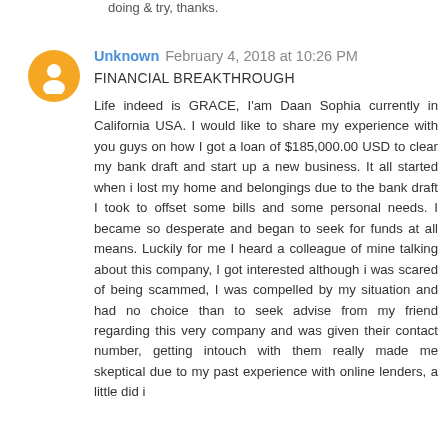doing & try, thanks.
Unknown  February 4, 2018 at 10:26 PM
FINANCIAL BREAKTHROUGH

Life indeed is GRACE, I'am Daan Sophia currently in California USA. I would like to share my experience with you guys on how I got a loan of $185,000.00 USD to clear my bank draft and start up a new business. It all started when i lost my home and belongings due to the bank draft I took to offset some bills and some personal needs. I became so desperate and began to seek for funds at all means. Luckily for me I heard a colleague of mine talking about this company, I got interested although i was scared of being scammed, I was compelled by my situation and had no choice than to seek advise from my friend regarding this very company and was given their contact number, getting intouch with them really made me skeptical due to my past experience with online lenders, a little did i